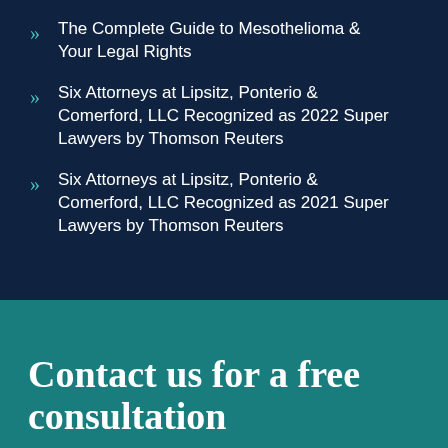The Complete Guide to Mesothelioma & Your Legal Rights
Six Attorneys at Lipsitz, Ponterio & Comerford, LLC Recognized as 2022 Super Lawyers by Thomson Reuters
Six Attorneys at Lipsitz, Ponterio & Comerford, LLC Recognized as 2021 Super Lawyers by Thomson Reuters
Contact us for a free consultation